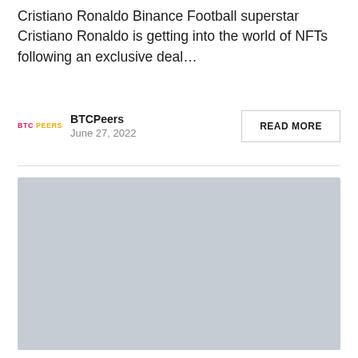Cristiano Ronaldo Binance Football superstar Cristiano Ronaldo is getting into the world of NFTs following an exclusive deal…
BTCPeers
June 27, 2022
READ MORE
[Figure (photo): Gray placeholder image block]